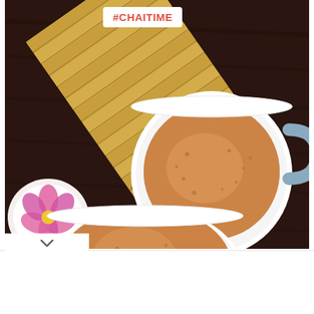[Figure (photo): Overhead view of two white cups of chai tea (masala tea) on a dark wooden table, with a bamboo mat and a small dish with pink flowers visible on the left. A white label with '#CHAITIME' in red text appears at the top center of the image.]
#CHAITIME
Conferences At Wisp Resort
Let Us Exceed Expectations w/ Our Luxury Lodging, Award-Winning Catering & Year-Round Fun. Wisp Resort
Open